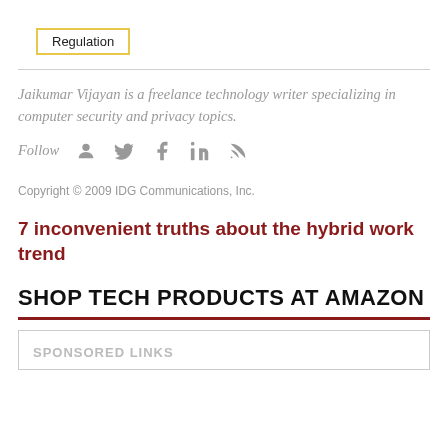Regulation
Jaikumar Vijayan is a freelance technology writer specializing in computer security and privacy topics.
Follow
Copyright © 2009 IDG Communications, Inc.
7 inconvenient truths about the hybrid work trend
SHOP TECH PRODUCTS AT AMAZON
SPONSORED LINKS